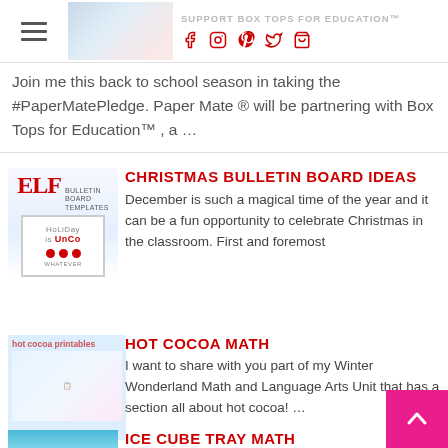SUPPORT BOX TOPS FOR EDUCATION™
Join me this back to school season in taking the #PaperMatePledge. Paper Mate ® will be partnering with Box Tops for Education™ , a ...
CHRISTMAS BULLETIN BOARD IDEAS
December is such a magical time of the year and it can be a fun opportunity to celebrate Christmas in the classroom. First and foremost ...
HOT COCOA MATH
I want to share with you part of my Winter Wonderland Math and Language Arts Unit that has a section all about hot cocoa! ...
ICE CUBE TRAY MATH
The best part of math is using manipulatives.